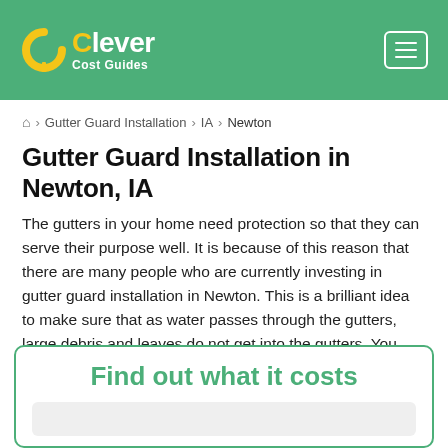Clever Cost Guides
🏠 > Gutter Guard Installation > IA > Newton
Gutter Guard Installation in Newton, IA
The gutters in your home need protection so that they can serve their purpose well. It is because of this reason that there are many people who are currently investing in gutter guard installation in Newton. This is a brilliant idea to make sure that as water passes through the gutters, large debris and leaves do not get into the gutters. You can get in touch with the experts at Clever Cost Guides so that they can help you get proper installation for your gutter guards.
Find out what it costs